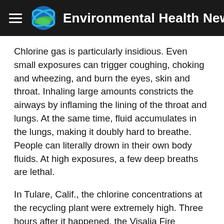Environmental Health News
Chlorine gas is particularly insidious. Even small exposures can trigger coughing, choking and wheezing, and burn the eyes, skin and throat. Inhaling large amounts constricts the airways by inflaming the lining of the throat and lungs. At the same time, fluid accumulates in the lungs, making it doubly hard to breathe. People can literally drown in their own body fluids. At high exposures, a few deep breaths are lethal.
In Tulare, Calif., the chlorine concentrations at the recycling plant were extremely high. Three hours after it happened, the Visalia Fire Department measured the gas at 328 parts per million near the